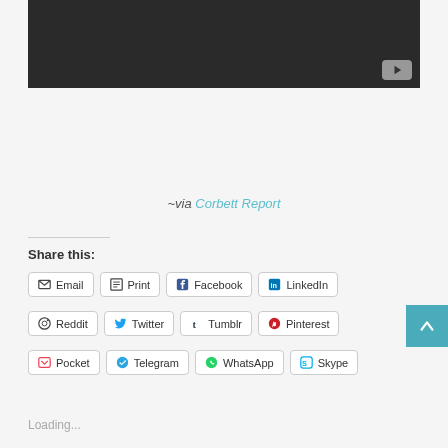[Figure (screenshot): Dark video player area with YouTube icon in bottom-right corner]
~via Corbett Report
Share this:
Email
Print
Facebook
LinkedIn
Reddit
Twitter
Tumblr
Pinterest
Pocket
Telegram
WhatsApp
Skype
Loading...